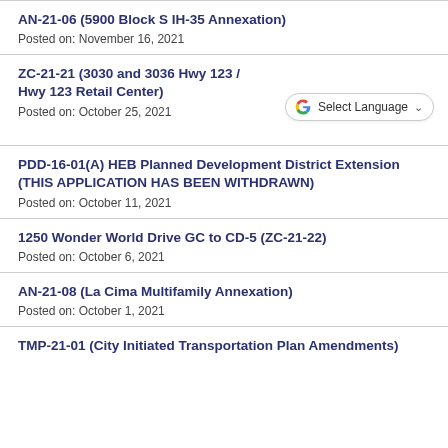AN-21-06 (5900 Block S IH-35 Annexation)
Posted on: November 16, 2021
ZC-21-21 (3030 and 3036 Hwy 123 / Hwy 123 Retail Center)
Posted on: October 25, 2021
PDD-16-01(A) HEB Planned Development District Extension (THIS APPLICATION HAS BEEN WITHDRAWN)
Posted on: October 11, 2021
1250 Wonder World Drive GC to CD-5 (ZC-21-22)
Posted on: October 6, 2021
AN-21-08 (La Cima Multifamily Annexation)
Posted on: October 1, 2021
TMP-21-01 (City Initiated Transportation Plan Amendments)